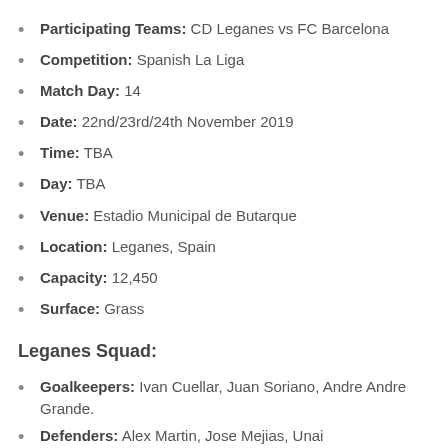Participating Teams: CD Leganes vs FC Barcelona
Competition: Spanish La Liga
Match Day: 14
Date: 22nd/23rd/24th November 2019
Time: TBA
Day: TBA
Venue: Estadio Municipal de Butarque
Location: Leganes, Spain
Capacity: 12,450
Surface: Grass
Leganes Squad:
Goalkeepers: Ivan Cuellar, Juan Soriano, Andre Andre Grande.
Defenders: Alex Martin, Jose Mejias, Unai